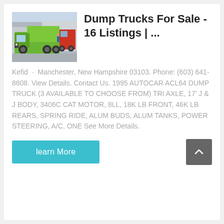[Figure (photo): Green dump truck parked in a lot, front-side view]
Dump Trucks For Sale - 16 Listings | ...
Kefid · Manchester, New Hampshire 03103. Phone: (603) 641-8608. View Details. Contact Us. 1995 AUTOCAR ACL64 DUMP TRUCK (3 AVAILABLE TO CHOOSE FROM) TRI AXLE, 17' J & J BODY, 3406C CAT MOTOR, 8LL, 18K LB FRONT, 46K LB REARS, SPRING RIDE, ALUM BUDS, ALUM TANKS, POWER STEERING, A/C, ONE See More Details.
learn More